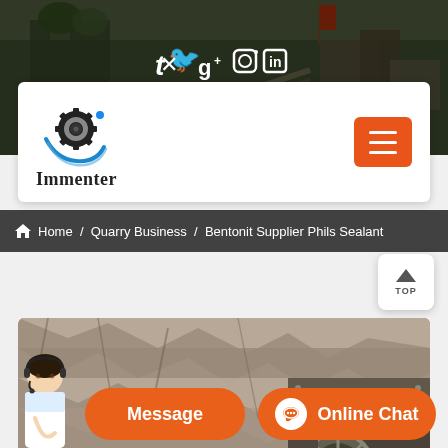[Figure (screenshot): Website screenshot showing Immenter company page with hero background photo of quarry/industrial site, navigation bar with logo and hamburger menu, breadcrumb navigation, and content image of quarry/rock material with crusher machinery]
Social media icons: Twitter, Google+, Instagram, LinkedIn
Immenter
Home / Quarry Business / Bentonit Supplier Phils Sealant
Message   Online Chat